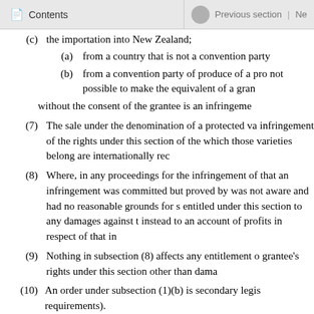Contents | Previous section | Ne
(c)  the importation into New Zealand;
(a)  from a country that is not a convention party
(b)  from a convention party of produce of a pro not possible to make the equivalent of a gran
without the consent of the grantee is an infringeme
(7)  The sale under the denomination of a protected va infringement of the rights under this section of the which those varieties belong are internationally rec
(8)  Where, in any proceedings for the infringement of that an infringement was committed but proved by was not aware and had no reasonable grounds for s entitled under this section to any damages against t instead to an account of profits in respect of that in
(9)  Nothing in subsection (8) affects any entitlement o grantee's rights under this section other than dama
(10)  An order under subsection (1)(b) is secondary legis requirements).
Compare: 1973 No 37 s 22